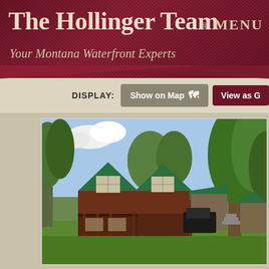The Hollinger Team — Your Montana Waterfront Experts | MENU
DISPLAY: Show on Map | View as G
[Figure (photo): Exterior photo of a log cabin style home with green metal roof, covered front porch, surrounded by large green trees and green lawn. Additional outbuilding visible on the right. Driveway in foreground.]